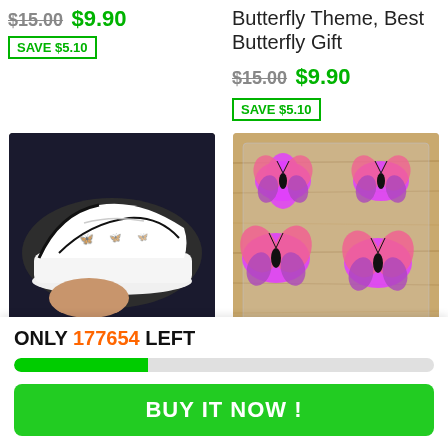$15.00 $9.90 SAVE $5.10
Butterfly Theme, Best Butterfly Gift
$15.00 $9.90
SAVE $5.10
[Figure (photo): White Nike Air Force 1 sneaker with reflective butterfly patterns, held by a hand against a dark background]
[Figure (photo): Pink and purple butterfly iron-on patches laid out on a wooden surface]
Butterfly Reflective
Easy Use Iron On Pink
ONLY 177654 LEFT
BUY IT NOW !